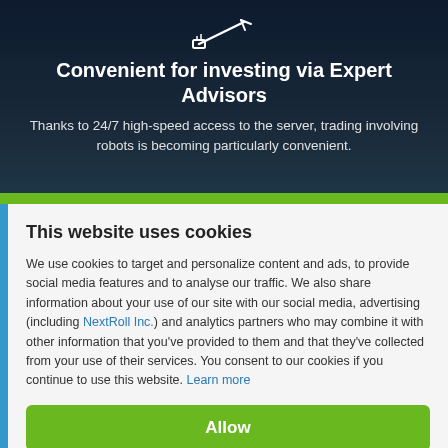[Figure (illustration): White icon of a device/router with signal lines on dark navy background]
Convenient for investing via Expert Advisors
Thanks to 24/7 high-speed access to the server, trading involving robots is becoming particularly convenient.
This website uses cookies
We use cookies to target and personalize content and ads, to provide social media features and to analyse our traffic. We also share information about your use of our site with our social media, advertising (including NextRoll Inc.) and analytics partners who may combine it with other information that you've provided to them and that they've collected from your use of their services. You consent to our cookies if you continue to use this website. Learn more
Allow
Disallow